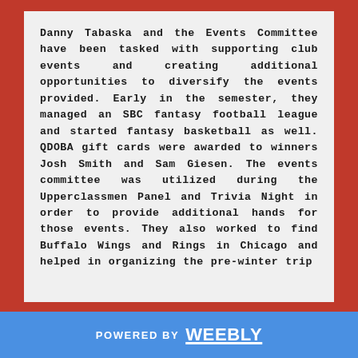Danny Tabaska and the Events Committee have been tasked with supporting club events and creating additional opportunities to diversify the events provided. Early in the semester, they managed an SBC fantasy football league and started fantasy basketball as well. QDOBA gift cards were awarded to winners Josh Smith and Sam Giesen. The events committee was utilized during the Upperclassmen Panel and Trivia Night in order to provide additional hands for those events. They also worked to find Buffalo Wings and Rings in Chicago and helped in organizing the pre-winter trip
POWERED BY weebly